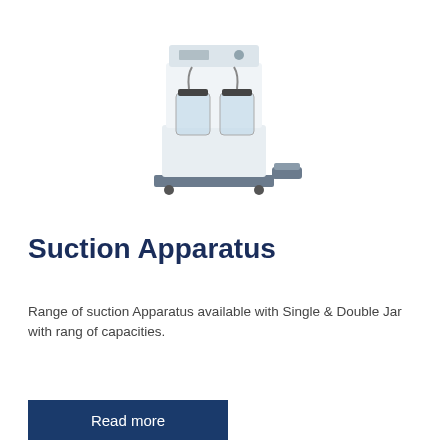[Figure (photo): Medical suction apparatus machine with two clear glass collection jars, white body with control panel on top, mounted on a base with wheels, and a foot pedal beside it.]
Suction Apparatus
Range of suction Apparatus available with Single & Double Jar with rang of capacities.
Read more